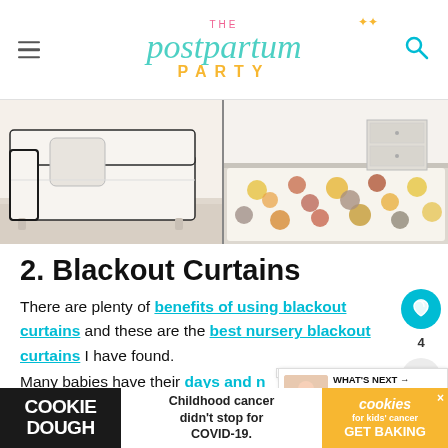THE postpartum PARTY
[Figure (photo): Two-panel image: left shows a white armchair/sofa corner; right shows a colorful polka-dot rug on a floor]
2. Blackout Curtains
There are plenty of benefits of using blackout curtains and these are the best nursery blackout curtains I have found.
Many babies have their days and nights mixed up when they're first born, so